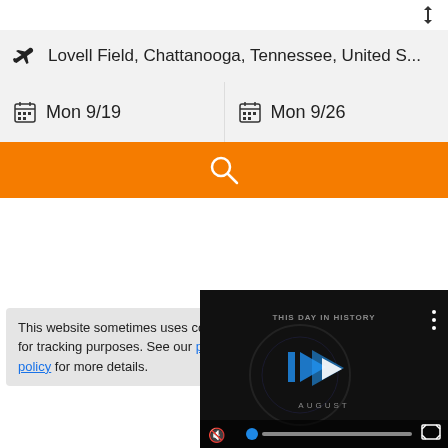[Figure (screenshot): Swap/reverse icon (up-down arrows) button in top right corner of search form]
Lovell Field, Chattanooga, Tennessee, United S...
Mon 9/19
Mon 9/26
[Figure (screenshot): Orange search button with magnifying glass icon]
This website sometimes uses cookies for tracking purposes. See our privacy policy for more details.
[Figure (screenshot): Video player showing 'This Day in History' with play button, mute, progress bar and fullscreen controls. Label says AUGUST at bottom.]